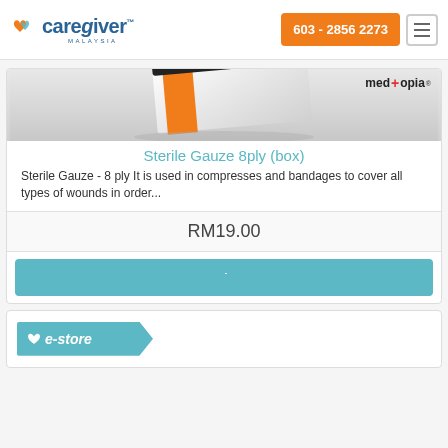caregiver MALAYSIA | 603 - 2856 2273
[Figure (photo): Product image of Sterile Gauze 8ply box with orange and black packaging on a light grey background. Medtopia brand logo visible.]
Sterile Gauze 8ply (box)
Sterile Gauze - 8 ply It is used in compresses and bandages to cover all types of wounds in order...
RM19.00
[Add to Cart button]
[Figure (logo): e-store badge in teal color with heart icon]